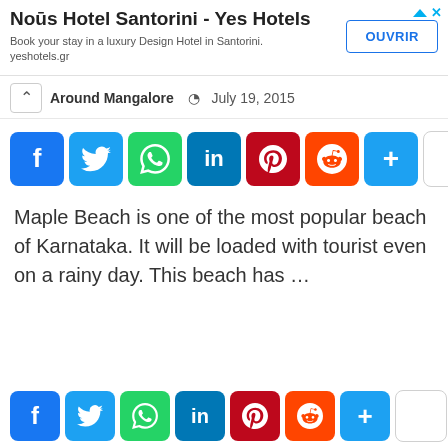[Figure (screenshot): Advertisement banner for Noūs Hotel Santorini - Yes Hotels with OUVRIR button]
By Around Mangalore  July 19, 2015
[Figure (infographic): Social media share buttons row: Facebook, Twitter, WhatsApp, LinkedIn, Pinterest, Reddit, More (+), empty]
Maple Beach is one of the most popular beach of Karnataka. It will be loaded with tourist even on a rainy day. This beach has …
[Figure (infographic): Social media share buttons row (bottom): Facebook, Twitter, WhatsApp, LinkedIn, Pinterest, Reddit, More (+), empty]